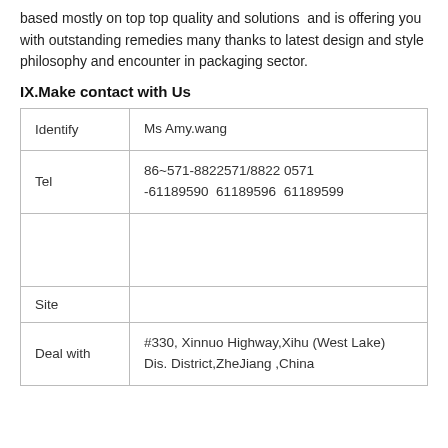based mostly on top top quality and solutions  and is offering you with outstanding remedies many thanks to latest design and style philosophy and encounter in packaging sector.
IX.Make contact with Us
|  |  |
| --- | --- |
| Identify | Ms Amy.wang |
| Tel | 86~571-8822571/8822 0571 -61189590  61189596  61189599 |
|  |  |
| Site |  |
| Deal with | #330, Xinnuo Highway,Xihu (West Lake) Dis. District,ZheJiang ,China |